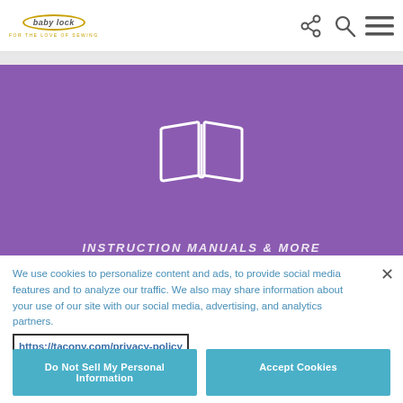[Figure (logo): Baby Lock logo with oval border and tagline FOR THE LOVE OF SEWING]
[Figure (illustration): Open book icon in white outline on purple background]
We use cookies to personalize content and ads, to provide social media features and to analyze our traffic. We also may share information about your use of our site with our social media, advertising, and analytics partners.
https://tacony.com/privacy-policy
Do Not Sell My Personal Information
Accept Cookies